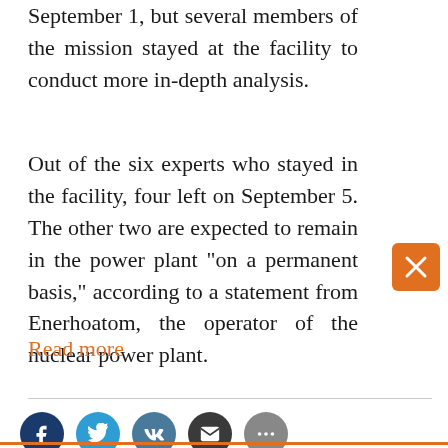September 1, but several members of the mission stayed at the facility to conduct more in-depth analysis.
Out of the six experts who stayed in the facility, four left on September 5. The other two are expected to remain in the power plant "on a permanent basis," according to a statement from Enerhoatom, the operator of the nuclear power plant.
Read more